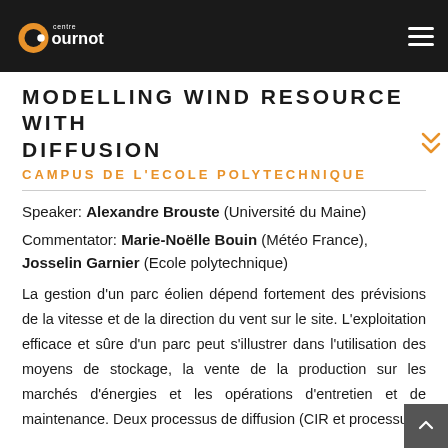Centre Cournot
MODELLING WIND RESOURCE WITH DIFFUSION
CAMPUS DE L'ECOLE POLYTECHNIQUE
Speaker: Alexandre Brouste (Université du Maine)
Commentator: Marie-Noëlle Bouin (Météo France), Josselin Garnier (Ecole polytechnique)
La gestion d'un parc éolien dépend fortement des prévisions de la vitesse et de la direction du vent sur le site. L'exploitation efficace et sûre d'un parc peut s'illustrer dans l'utilisation des moyens de stockage, la vente de la production sur les marchés d'énergies et les opérations d'entretien et de maintenance. Deux processus de diffusion (CIR et processus